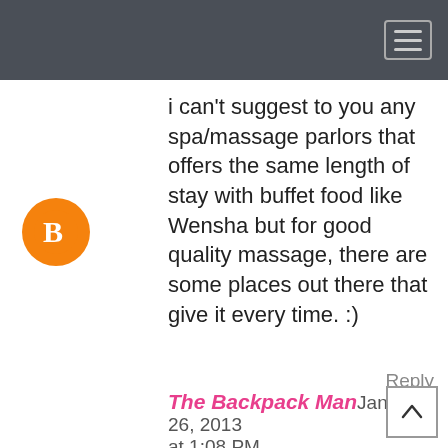[Navigation bar with hamburger menu]
i can't suggest to you any spa/massage parlors that offers the same length of stay with buffet food like Wensha but for good quality massage, there are some places out there that give it every time. :)
Reply
The Backpack Man January 26, 2013 at 1:08 PM
tsk tsk.... sa mga bulag nalng idol sarap pa mag masahe, kapa to the max hhahahahhaha gamit ang pau de arco , nako napakasarap n feeling. try mo sa Robinsons